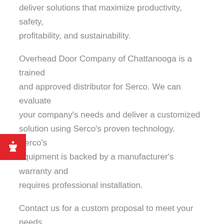deliver solutions that maximize productivity, safety, profitability, and sustainability.
Overhead Door Company of Chattanooga is a trained and approved distributor for Serco. We can evaluate your company's needs and deliver a customized solution using Serco's proven technology. Serco's equipment is backed by a manufacturer's warranty and requires professional installation.
Contact us for a custom proposal to meet your needs.
LoadWarrior® Hydraulic Dock Lift
These dock lifts help keep loading operations efficient and productive and are perfect for distribution...